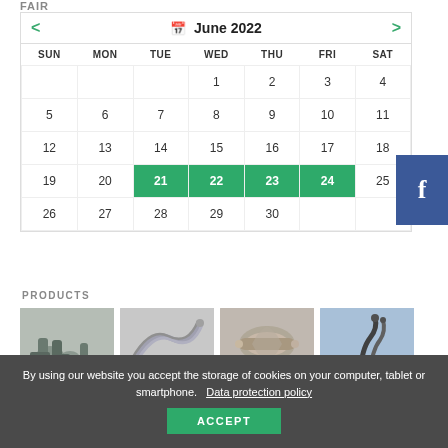FAIR
| SUN | MON | TUE | WED | THU | FRI | SAT |
| --- | --- | --- | --- | --- | --- | --- |
|  |  |  | 1 | 2 | 3 | 4 |
| 5 | 6 | 7 | 8 | 9 | 10 | 11 |
| 12 | 13 | 14 | 15 | 16 | 17 | 18 |
| 19 | 20 | 21 | 22 | 23 | 24 | 25 |
| 26 | 27 | 28 | 29 | 30 |  |  |
PRODUCTS
[Figure (photo): Industrial pipe fittings and connectors, grey/teal colored]
[Figure (photo): Electrical cables/wires coiled]
[Figure (photo): Metal pipe with insulation wrapping]
[Figure (photo): Flexible conduit pipe on blue background]
By using our website you accept the storage of cookies on your computer, tablet or smartphone. Data protection policy
ACCEPT